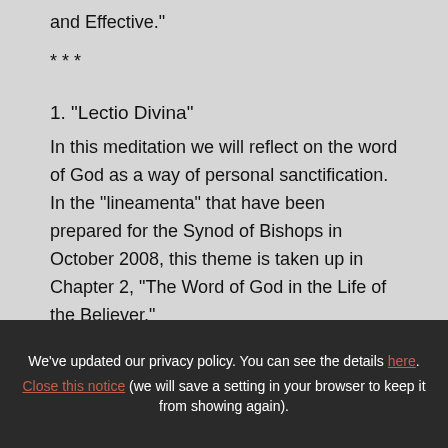and Effective."
* * *
1. "Lectio Divina"
In this meditation we will reflect on the word of God as a way of personal sanctification. In the "lineamenta" that have been prepared for the Synod of Bishops in October 2008, this theme is taken up in Chapter 2, “The Word of God in the Life of the Believer.”
We've updated our privacy policy. You can see the details here.
Close this notice (we will save a setting in your browser to keep it from showing again).